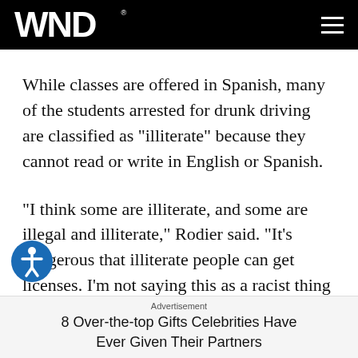WND
While classes are offered in Spanish, many of the students arrested for drunk driving are classified as "illiterate" because they cannot read or write in English or Spanish.
"I think some are illiterate, and some are illegal and illiterate," Rodier said. "It's dangerous that illiterate people can get licenses. I'm not saying this as a racist thing because I am of Latin-American decent. This
Advertisement
8 Over-the-top Gifts Celebrities Have Ever Given Their Partners